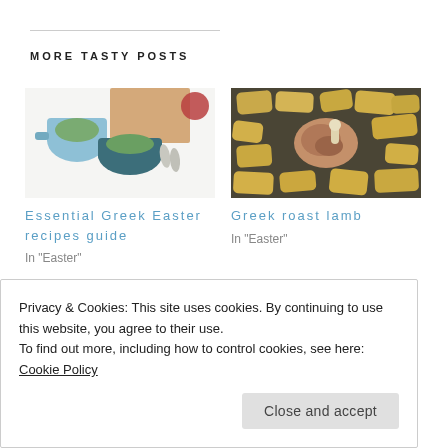MORE TASTY POSTS
[Figure (photo): Overhead view of Greek Easter ingredients: pots with herb sauces, spoons, and bread on a white background]
Essential Greek Easter recipes guide
In "Easter"
[Figure (photo): Overhead view of Greek roast lamb with potatoes in a roasting pan]
Greek roast lamb
In "Easter"
Privacy & Cookies: This site uses cookies. By continuing to use this website, you agree to their use.
To find out more, including how to control cookies, see here: Cookie Policy
In "Easter"